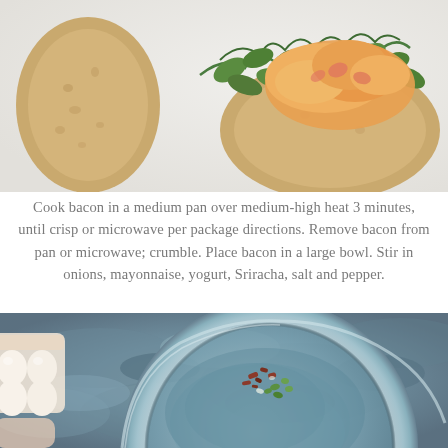[Figure (photo): Overhead view of an open-faced sandwich with arugula greens and egg salad filling on a piece of bread, photographed on a white surface with another slice of bread nearby.]
Cook bacon in a medium pan over medium-high heat 3 minutes, until crisp or microwave per package directions. Remove bacon from pan or microwave; crumble. Place bacon in a large bowl. Stir in onions, mayonnaise, yogurt, Sriracha, salt and pepper.
[Figure (photo): A large glass mixing bowl viewed from above on a stone surface, with crumbled bacon and sliced green onions visible in the center. Eggs in a carton are visible on the left side.]